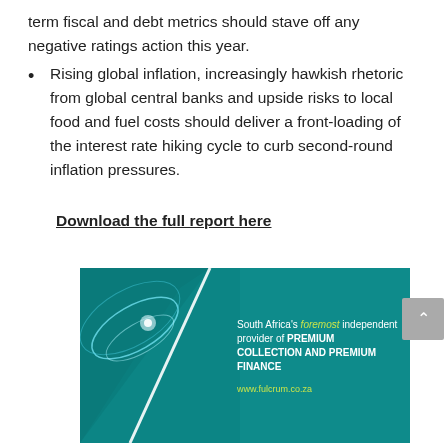term fiscal and debt metrics should stave off any negative ratings action this year.
Rising global inflation, increasingly hawkish rhetoric from global central banks and upside risks to local food and fuel costs should deliver a front-loading of the interest rate hiking cycle to curb second-round inflation pressures.
Download the full report here
[Figure (illustration): Fulcrum advertisement banner: South Africa's foremost independent provider of PREMIUM COLLECTION AND PREMIUM FINANCE. Website: www.fulcrum.co.za. Teal background with abstract wave graphic.]